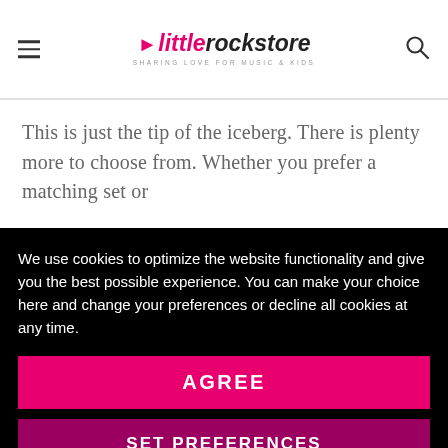littlerockstore — SHARING LOVE FOR MUSIC & KIDS
This is just the tip of the iceberg. There is plenty more to choose from. Whether you prefer a matching set or
We use cookies to optimize the website functionality and give you the best possible experience. You can make your choice here and change your preferences or decline all cookies at any time.
AGREE
SET PREFERENCES